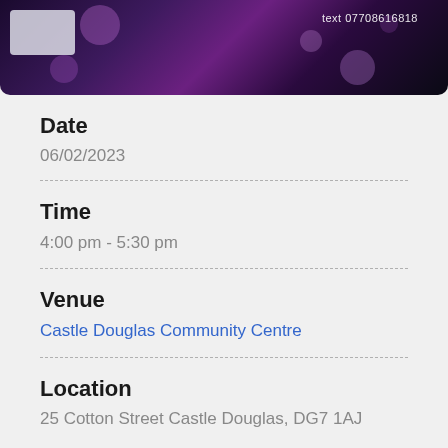[Figure (photo): Dark purple bokeh background with a partial white/grey card shape on the left and text showing a phone number on the right]
Date
06/02/2023
Time
4:00 pm - 5:30 pm
Venue
Castle Douglas Community Centre
Location
25 Cotton Street Castle Douglas, DG7 1AJ